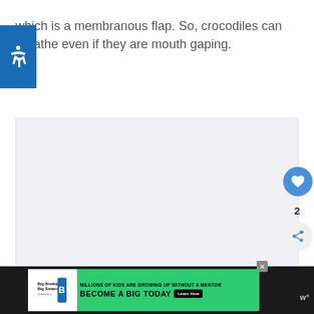which is a membranous flap. So, crocodiles can breathe even if they are mouth gaping.
[Figure (other): Large image placeholder area with light gray background, likely containing an article image about crocodiles]
[Figure (other): Advertisement banner: Big Brothers Big Sisters - Millions of kids are growing up without a mentor. Become a big today. Learn How button.]